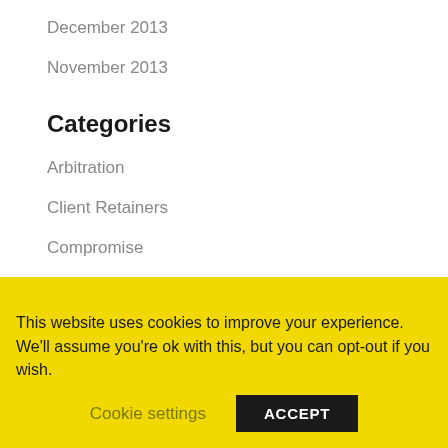December 2013
November 2013
Categories
Arbitration
Client Retainers
Compromise
Conflict
Disputes
Emotions
Ethics
Houston Mediation and Arbitration
This website uses cookies to improve your experience. We'll assume you're ok with this, but you can opt-out if you wish.